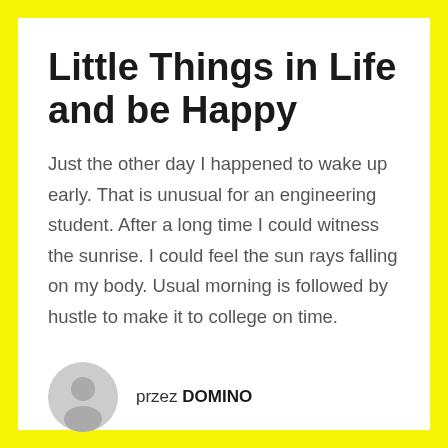Little Things in Life and be Happy
Just the other day I happened to wake up early. That is unusual for an engineering student. After a long time I could witness the sunrise. I could feel the sun rays falling on my body. Usual morning is followed by hustle to make it to college on time.
przez DOMINO